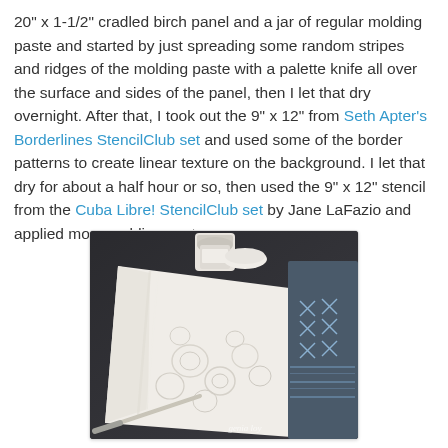20" x 1-1/2" cradled birch panel and a jar of regular molding paste and started by just spreading some random stripes and ridges of the molding paste with a palette knife all over the surface and sides of the panel, then I let that dry overnight. After that, I took out the 9" x 12" from Seth Apter's Borderlines StencilClub set and used some of the border patterns to create linear texture on the background. I let that dry for about a half hour or so, then used the 9" x 12" stencil from the Cuba Libre! StencilClub set by Jane LaFazio and applied more molding paste.
[Figure (photo): A white birch panel covered in textured molding paste with floral/circular patterns, with a palette knife visible in the lower left. In the background are jars of molding paste and a blue stencil with geometric patterns.]